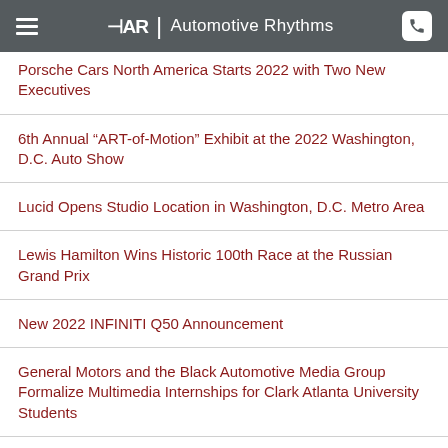Automotive Rhythms
Porsche Cars North America Starts 2022 with Two New Executives
6th Annual “ART-of-Motion” Exhibit at the 2022 Washington, D.C. Auto Show
Lucid Opens Studio Location in Washington, D.C. Metro Area
Lewis Hamilton Wins Historic 100th Race at the Russian Grand Prix
New 2022 INFINITI Q50 Announcement
General Motors and the Black Automotive Media Group Formalize Multimedia Internships for Clark Atlanta University Students
Koenigsegg’s MegaCar Experience at Monterey Car Week 2021